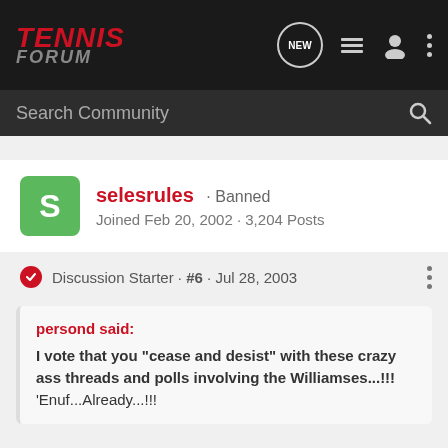TENNIS FORUM
Search Community
selesrules · Banned
Joined Feb 20, 2002 · 3,204 Posts
Discussion Starter · #6 · Jul 28, 2003
persond said:
I vote that you "cease and desist" with these crazy ass threads and polls involving the Williamses...!!! 'Enuf...Already...!!!
I vote that if you don't like me or my threads, then stay the hell out of them.